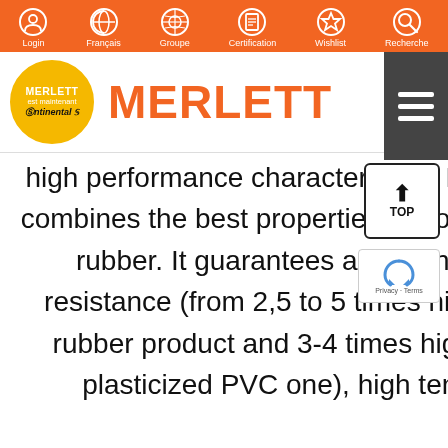Login | Français | Groupe | Certification | Wishlist | Recherche
[Figure (logo): Merlett logo circle with text 'MERLETT est maintenant Continental' and orange MERLETT brand name text]
high performance characteristics. Polyurethane combines the best properties of both plastic and rubber. It guarantees abrasion and tear resistance (from 2,5 to 5 times higher than a rubber product and 3-4 times higher than a plasticized PVC one), high tensile and